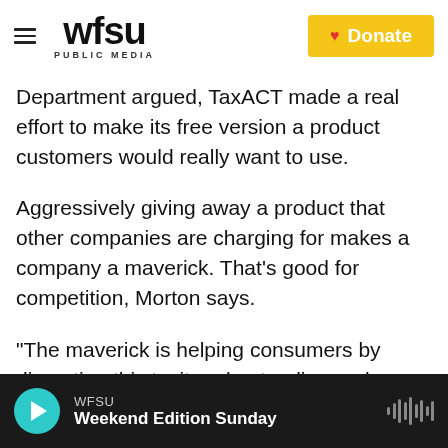WFSU PUBLIC MEDIA | Donate
Department argued, TaxACT made a real effort to make its free version a product customers would really want to use.
Aggressively giving away a product that other companies are charging for makes a company a maverick. That's good for competition, Morton says.
"The maverick is helping consumers by disrupting this tacit understanding and coordination among the big firms not to compete too hard," she says. "The maverick is breaking that up and really benefiting consumers."
WFSU | Weekend Edition Sunday